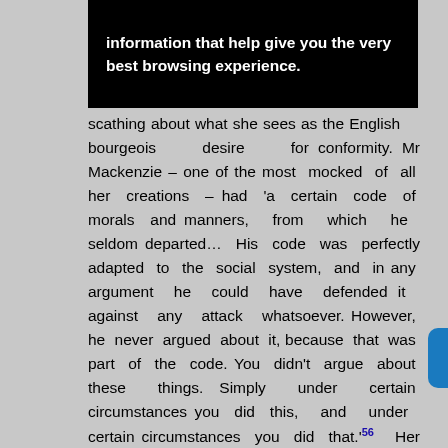[Figure (screenshot): Black banner with white bold text reading 'information that help give you the very best browsing experience.']
scathing about what she sees as the English bourgeois desire for conformity. Mr Mackenzie – one of the most mocked of all her creations – had 'a certain code of morals and manners, from which he seldom departed… His code was perfectly adapted to the social system, and in any argument he could have defended it against any attack whatsoever. However, he never argued about it, because that was part of the code. You didn't argue about these things. Simply under certain circumstances you did this, and under certain circumstances you did that.'56 Her stories do not deal with the really wealthy and powerful – even the rich lovers are generally working in the